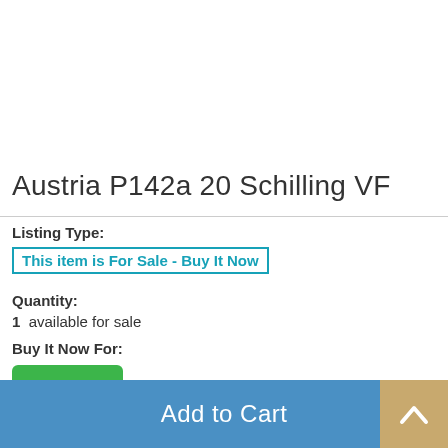Austria P142a 20 Schilling VF
Listing Type: This item is For Sale - Buy It Now
Quantity: 1 available for sale
Buy It Now For: $3.00
Add to Cart